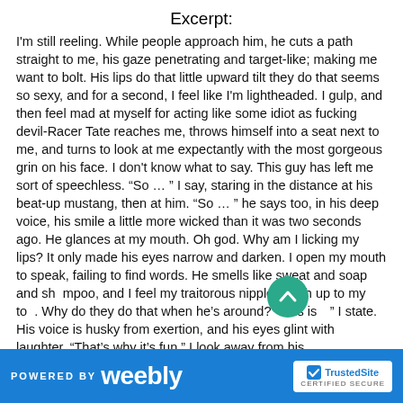Excerpt:
I'm still reeling. While people approach him, he cuts a path straight to me, his gaze penetrating and target-like; making me want to bolt. His lips do that little upward tilt they do that seems so sexy, and for a second, I feel like I'm lightheaded. I gulp, and then feel mad at myself for acting like some idiot as fucking devil-Racer Tate reaches me, throws himself into a seat next to me, and turns to look at me expectantly with the most gorgeous grin on his face. I don't know what to say. This guy has left me sort of speechless. “So … ” I say, staring in the distance at his beat-up mustang, then at him. “So … ” he says too, in his deep voice, his smile a little more wicked than it was two seconds ago. He glances at my mouth. Oh god. Why am I licking my lips? It only made his eyes narrow and darken. I open my mouth to speak, failing to find words. He smells like sweat and soap and shampoo, and I feel my traitorous nipples push up to my top. Why do they do that when he’s around? “This is…” I state. His voice is husky from exertion, and his eyes glint with laughter. “That’s why it’s fun.” I look away from his
POWERED BY weebly  TrustedSite CERTIFIED SECURE